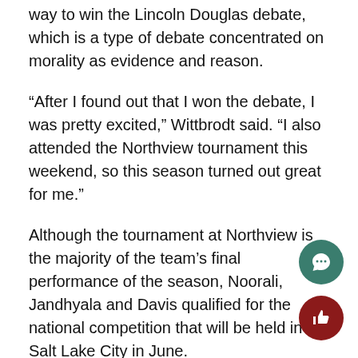way to win the Lincoln Douglas debate, which is a type of debate concentrated on morality as evidence and reason.
“After I found out that I won the debate, I was pretty excited,” Wittbrodt said. “I also attended the Northview tournament this weekend, so this season turned out great for me.”
Although the tournament at Northview is the majority of the team’s final performance of the season, Noorali, Jandhyala and Davis qualified for the national competition that will be held in Salt Lake City in June.
“I will debate in the Lincoln Douglas category this summer,” Noorali said. “I’m pretty nervous, but mos… because I’m excited for it.”
Two of the three national qualifiers came from the